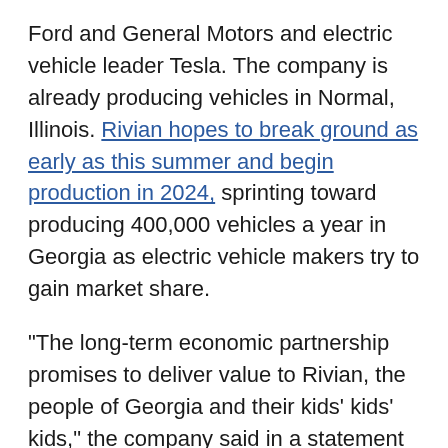Ford and General Motors and electric vehicle leader Tesla. The company is already producing vehicles in Normal, Illinois. Rivian hopes to break ground as early as this summer and begin production in 2024, sprinting toward producing 400,000 vehicles a year in Georgia as electric vehicle makers try to gain market share.
"The long-term economic partnership promises to deliver value to Rivian, the people of Georgia and their kids' kids' kids," the company said in a statement
The plant has been beset by fierce local opposition from residents who say development on the 2,000-acre site will spoil their rural quality of life. The site, between Social Circle and Rutledge, is about 45 miles east of downtown Atlanta.
The state statute requires a hearing for the...